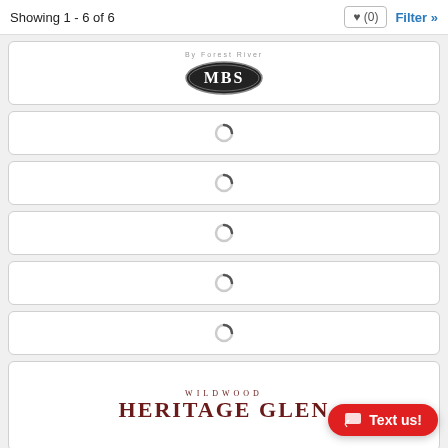Showing 1 - 6 of 6
[Figure (logo): MBS logo - dark oval badge with MBS text, with small text above]
[Figure (other): Loading spinner icon]
[Figure (other): Loading spinner icon]
[Figure (other): Loading spinner icon]
[Figure (other): Loading spinner icon]
[Figure (other): Loading spinner icon]
[Figure (logo): Wildwood Heritage Glen logo with serif text]
Text us!